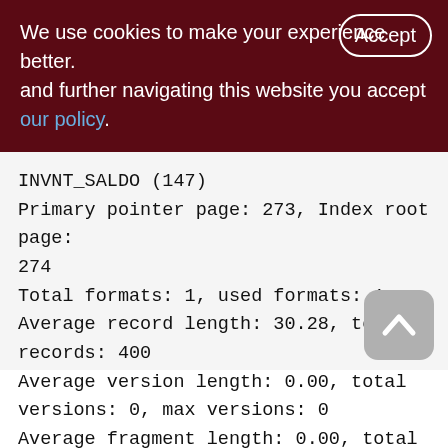We use cookies to make your experience better. By using and further navigating this website you accept our policy.
INVNT_SALDO (147)
Primary pointer page: 273, Index root page: 274
Total formats: 1, used formats: 1
Average record length: 30.28, total records: 400
Average version length: 0.00, total versions: 0, max versions: 0
Average fragment length: 0.00, total fragments: 0, max fragments: 0
Average unpacked length: 104.00,